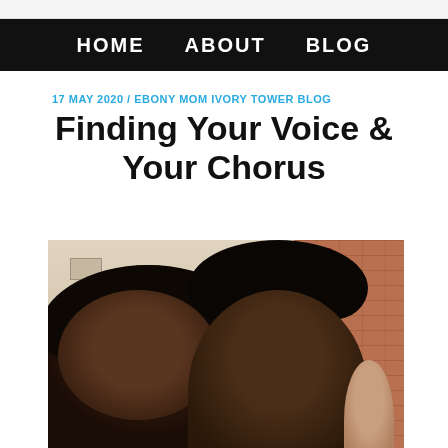HOME  ABOUT  BLOG
17 MAY 2020 / EBONY MOM IVORY TOWER BLOG
Finding Your Voice & Your Chorus
[Figure (photo): Two Black women smiling together in what appears to be a school or institutional building lobby with brick wall and ceiling lights visible in the background. A third person is partially visible on the right edge.]